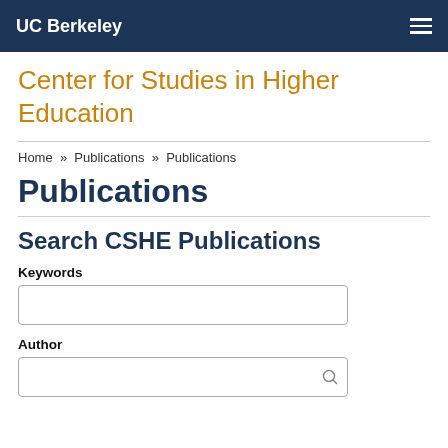UC Berkeley
Center for Studies in Higher Education
Home » Publications » Publications
Publications
Search CSHE Publications
Keywords
Author